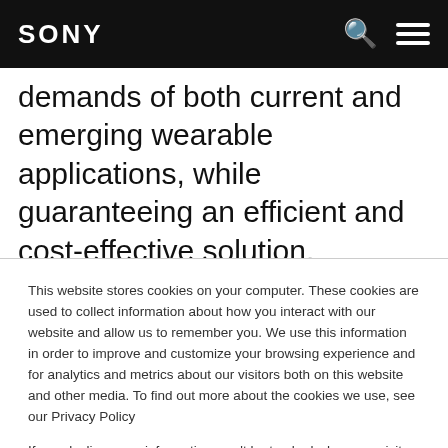SONY
demands of both current and emerging wearable applications, while guaranteeing an efficient and cost-effective solution. Moreover, the use of dual-mode LTE-M/NB-
This website stores cookies on your computer. These cookies are used to collect information about how you interact with our website and allow us to remember you. We use this information in order to improve and customize your browsing experience and for analytics and metrics about our visitors both on this website and other media. To find out more about the cookies we use, see our Privacy Policy
If you decline, your information won't be tracked when you visit this website. A single cookie will be used in your browser to remember your preference not to be tracked.
Manage Cookies  Accept  Decline